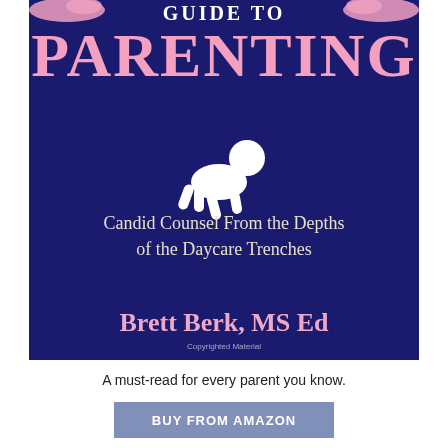[Figure (illustration): Book cover for 'Guide to Parenting: Candid Counsel From the Depths of the Daycare Trenches' by Brett Berk, MS Ed. Dark navy blue background with large pink title text, white baby crawling silhouette, decorative pink dinosaur/fish shapes at top corners.]
A must-read for every parent you know.
BUY FROM AMAZON